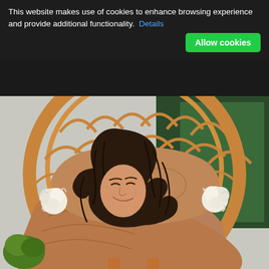This website makes use of cookies to enhance browsing experience and provide additional functionality.  Details
[Figure (photo): A woman with long dark wavy hair, eyes closed and smiling, wrapped in a tan/caramel quilted blanket, reclining in a large round rattan peacock chair with white fluffy pom-pom accents. The background shows a light interior space.]